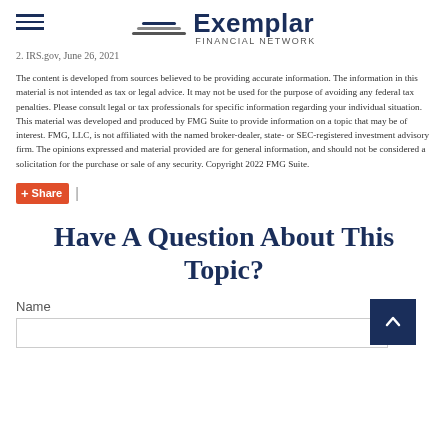Exemplar Financial Network
2. IRS.gov, June 26, 2021
The content is developed from sources believed to be providing accurate information. The information in this material is not intended as tax or legal advice. It may not be used for the purpose of avoiding any federal tax penalties. Please consult legal or tax professionals for specific information regarding your individual situation. This material was developed and produced by FMG Suite to provide information on a topic that may be of interest. FMG, LLC, is not affiliated with the named broker-dealer, state- or SEC-registered investment advisory firm. The opinions expressed and material provided are for general information, and should not be considered a solicitation for the purchase or sale of any security. Copyright 2022 FMG Suite.
Share |
Have A Question About This Topic?
Name